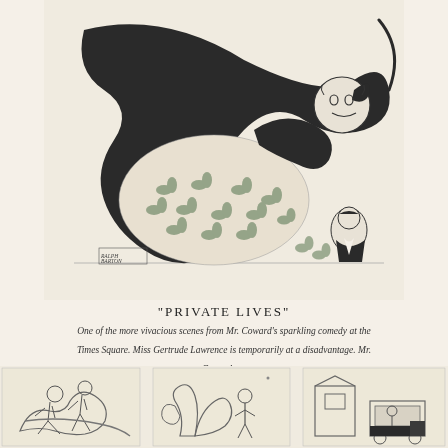[Figure (illustration): A humorous cartoon illustration showing a vivacious scene from 'Private Lives' — a figure in a floral dress being tossed or tumbling, with a stylized character in formal wear. The illustration is signed by the artist in the lower left corner.]
"PRIVATE LIVES"
One of the more vivacious scenes from Mr. Coward's sparkling comedy at the Times Square. Miss Gertrude Lawrence is temporarily at a disadvantage. Mr. Coward up.
…Rea Irvin brought us another of his two-page series cartoons…
[Figure (illustration): Three small cartoon panels at the bottom of the page showing various humorous scenes, part of Rea Irvin's two-page series cartoons.]